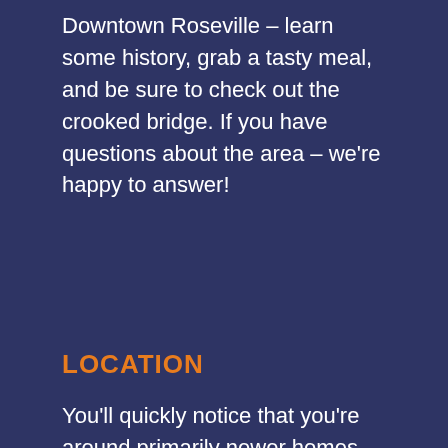Downtown Roseville – learn some history, grab a tasty meal, and be sure to check out the crooked bridge. If you have questions about the area – we're happy to answer!
LOCATION
You'll quickly notice that you're around primarily newer homes, parks, and this place only continues to improve on local offerings, on top of how amazing Roseville ready is with local amenities already at your finger tips. We're close to welcoming the newest local grocery store – the Nugget at Blue Oaks and Woodcreek Oaks, along with an amazing existing Safeway. Plenty of local